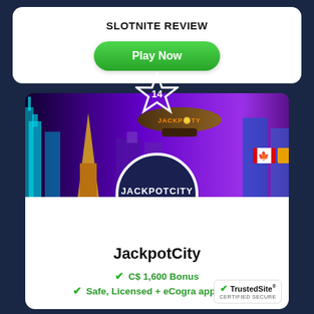SLOTNITE REVIEW
[Figure (screenshot): Green 'Play Now' button]
[Figure (photo): JackpotCity Casino banner with city skyline, blimp, star badge with number 14, circular logo, and Canadian flag. Casino name JackpotCity shown below with C$ 1,600 Bonus and Safe, Licensed + eCogra approved features. TrustedSite Certified Secure badge in bottom right.]
JackpotCity
C$ 1,600 Bonus
Safe, Licensed + eCogra approved